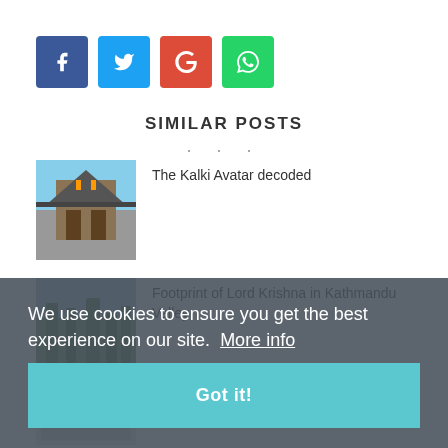[Figure (other): Social sharing buttons row: Facebook (blue), Twitter (cyan), Google+ (red), WhatsApp (green)]
SIMILAR POSTS
[Figure (photo): Thumbnail image of a building for 'The Kalki Avatar decoded' post]
The Kalki Avatar decoded
[Figure (photo): Thumbnail image of trees/nature for 'Footprint of Lord Krishna in Kathmandu Valley' post]
Footprint of Lord Krishna in Kathmandu Valley
We use cookies to ensure you get the best experience on our site.  More info
Got it!
[Figure (photo): Thumbnail image of a letter document]
A Letter by the Kalki
[Figure (photo): Thumbnail image for 'Bhimeshawar Had Already Warned People' post]
Bhimeshawar Had Already Warned People